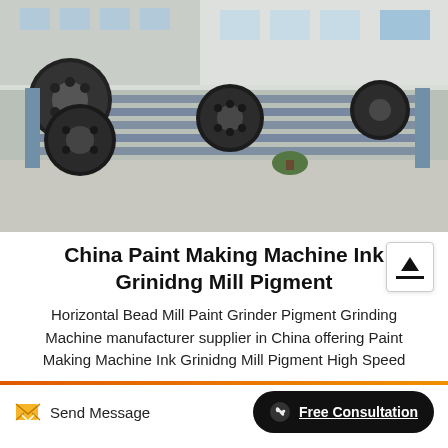[Figure (photo): Industrial machine components (paint making/grinding mill equipment) - large black rollers and gray metal frames/rails stacked outdoors on concrete]
China Paint Making Machine Ink Grinidng Mill Pigment
Horizontal Bead Mill Paint Grinder Pigment Grinding Machine manufacturer supplier in China offering Paint Making Machine Ink Grinidng Mill Pigment High Speed